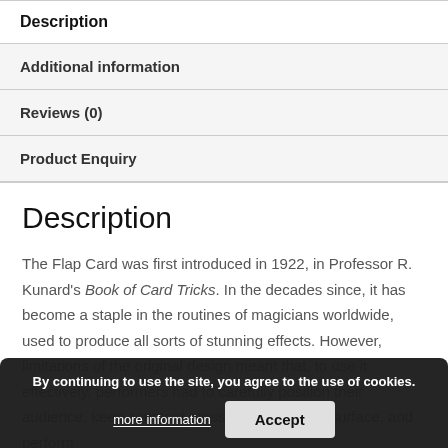Description
Additional information
Reviews (0)
Product Enquiry
Description
The Flap Card was first introduced in 1922, in Professor R. Kunard's Book of Card Tricks. In the decades since, it has become a staple in the routines of magicians worldwide, used to produce all sorts of stunning effects. However, limitations of the original design meant that, to use it effectively, performers had to carefully position their audience, keep constant pressure on the card surface, and perform
By continuing to use the site, you agree to the use of cookies.
more information
Accept